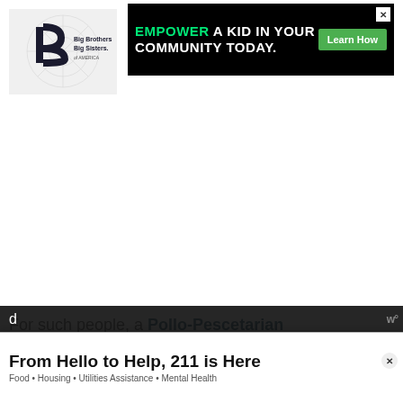[Figure (logo): Big Brothers Big Sisters of America logo — stylized B letter mark with text]
[Figure (screenshot): Black advertisement banner: 'EMPOWER A KID IN YOUR COMMUNITY TODAY.' with green 'Learn How' button and green 'EMPOWER' text]
[Figure (other): Large white empty content area with Wealthsimple 'W°' watermark logo at bottom right]
For such people, a Pollo-Pescetarian
[Figure (screenshot): White overlay ad banner: 'From Hello to Help, 211 is Here' with subtext 'Food • Housing • Utilities Assistance • Mental Health' and close X button]
d... ...tings a